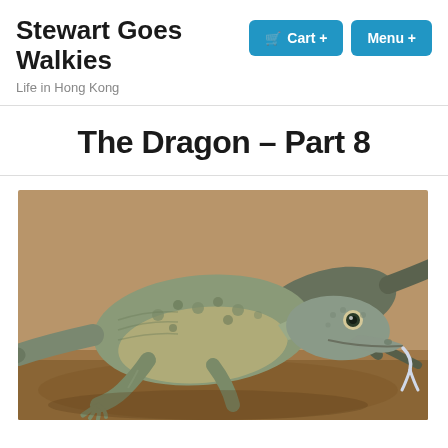Stewart Goes Walkies
Life in Hong Kong
The Dragon – Part 8
[Figure (photo): Close-up photograph of a Komodo dragon on sandy ground, with its forked tongue extended downward. A second Komodo dragon is visible in the background.]